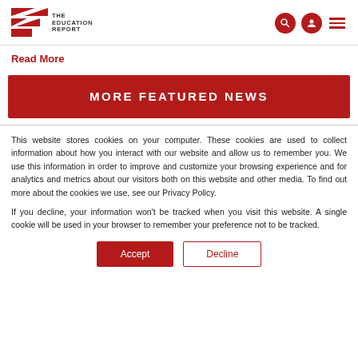THE EDUCATION REPORT
Read More
MORE FEATURED NEWS
This website stores cookies on your computer. These cookies are used to collect information about how you interact with our website and allow us to remember you. We use this information in order to improve and customize your browsing experience and for analytics and metrics about our visitors both on this website and other media. To find out more about the cookies we use, see our Privacy Policy.
If you decline, your information won't be tracked when you visit this website. A single cookie will be used in your browser to remember your preference not to be tracked.
Accept  Decline